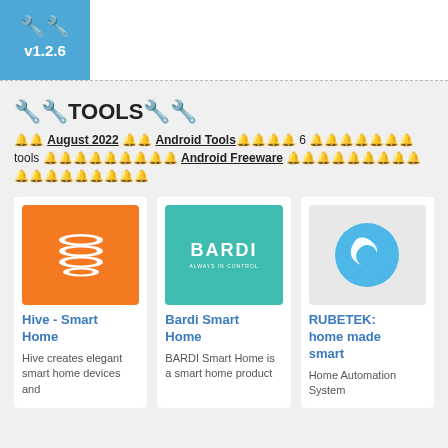v1.2.6
🔧TOOLS🔧
🔔 August 2022 🔔 Android Tools🔔🔔 6 🔔🔔🔔🔔🔔 tools 🔔🔔🔔🔔🔔🔔🔔🔔 Android Freeware 🔔🔔🔔🔔🔔🔔🔔🔔🔔🔔🔔🔔🔔🔔🔔🔔
[Figure (logo): Hive Smart Home orange logo with white horizontal stack lines]
Hive - Smart Home
Hive creates elegant smart home devices and
[Figure (logo): BARDI Smart Home teal logo with BARDI text and ALWAYS IN CONTROL tagline]
Bardi Smart Home
BARDI Smart Home is a smart home product
[Figure (logo): RUBETEK circular blue logo with white bird/hawk silhouette]
RUBETEK: home made smart
Home Automation System